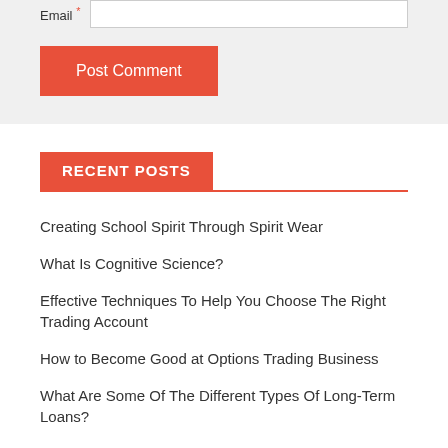Email
Post Comment
RECENT POSTS
Creating School Spirit Through Spirit Wear
What Is Cognitive Science?
Effective Techniques To Help You Choose The Right Trading Account
How to Become Good at Options Trading Business
What Are Some Of The Different Types Of Long-Term Loans?
Tools And Tips That Best Your Marketing Plan